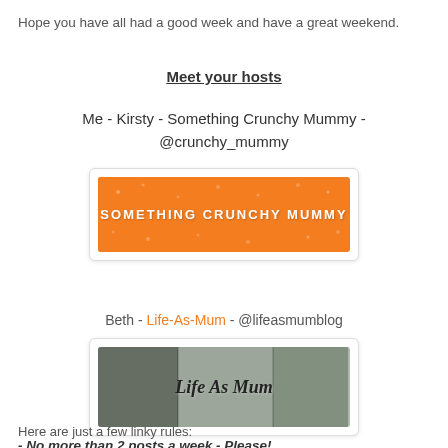Hope you have all had a good week and have a great weekend.
Meet your hosts
Me - Kirsty - Something Crunchy Mummy - @crunchy_mummy
[Figure (logo): Orange banner logo with text 'SOMETHING CRUNCHY MUMMY' in white uppercase letters on orange background with decorative dots]
Beth - Life-As-Mum - @lifeasmumblog
[Figure (photo): Photo banner showing 'Life As Mum' in cursive script over a blended photo background]
Here are just a few linky rules:
- No more than 2 posts a week - Please!